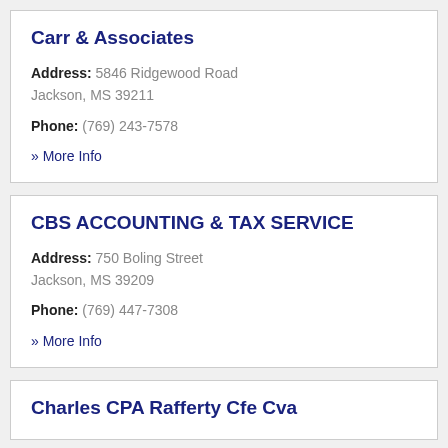Carr & Associates
Address: 5846 Ridgewood Road Jackson, MS 39211
Phone: (769) 243-7578
» More Info
CBS ACCOUNTING & TAX SERVICE
Address: 750 Boling Street Jackson, MS 39209
Phone: (769) 447-7308
» More Info
Charles CPA Rafferty Cfe Cva